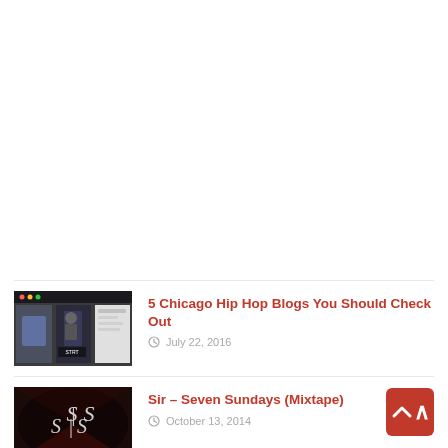[Figure (screenshot): Thumbnail image showing a hip hop blog screenshot with people]
5 Chicago Hip Hop Blogs You Should Check Out
July 22, 2016
[Figure (photo): Dark mixtape cover art with 'S|S' logo on dark red/maroon background]
Sir – Seven Sundays (Mixtape)
October 13, 2014